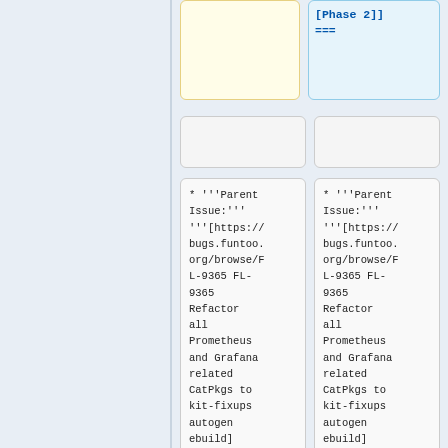[Phase 2]]
===
* '''Parent Issue:''' '''[https://bugs.funtoo.org/browse/FL-9365 FL-9365 Refactor all Prometheus and Grafana related CatPkgs to kit-fixups autogen ebuild]
* '''Parent Issue:''' '''[https://bugs.funtoo.org/browse/FL-9365 FL-9365 Refactor all Prometheus and Grafana related CatPkgs to kit-fixups autogen ebuild]
Line 94:
Line 96: